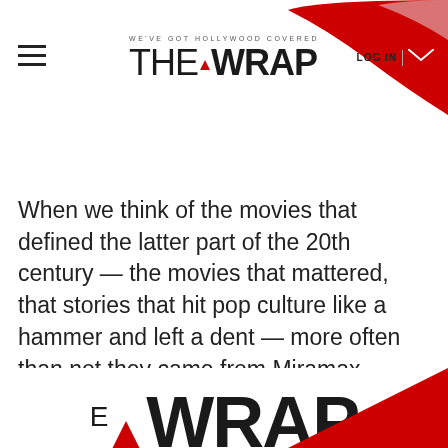WE'VE GOT HOLLYWOOD COVERED — THE WRAP
When we think of the movies that defined the latter part of the 20th century — the movies that mattered, that stories that hit pop culture like a hammer and left a dent — more often than not they came from Miramax.
[Figure (logo): The Wrap logo at bottom of page, large partial view showing THE WRAP text in bold black with red accent triangle on W]